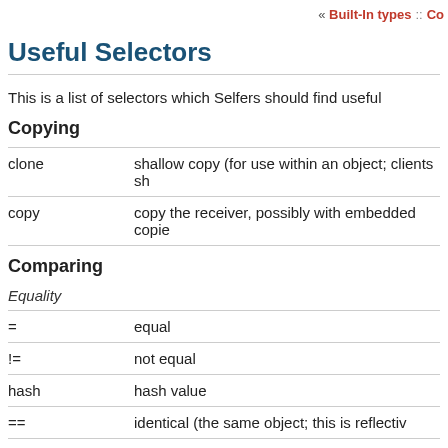« Built-In types :: Co
Useful Selectors
This is a list of selectors which Selfers should find useful
Copying
| Selector | Description |
| --- | --- |
| clone | shallow copy (for use within an object; clients sh |
| copy | copy the receiver, possibly with embedded copie |
Comparing
Equality
| Selector | Description |
| --- | --- |
| = | equal |
| != | not equal |
| hash | hash value |
| == | identical (the same object; this is reflectiv |
| !== | not identical |
Ordered